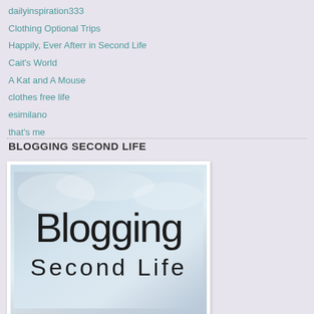dailyinspiration333
Clothing Optional Trips
Happily, Ever Afterr in Second Life
Cait's World
A Kat and A Mouse
clothes free life
esimilano
that's me
BLOGGING SECOND LIFE
[Figure (illustration): Blogging Second Life logo image with text 'Blogging' in large thin font and 'Second Life' below in spaced letters, on a soft blue-grey gradient background, presented as a polaroid-style photo with white border]